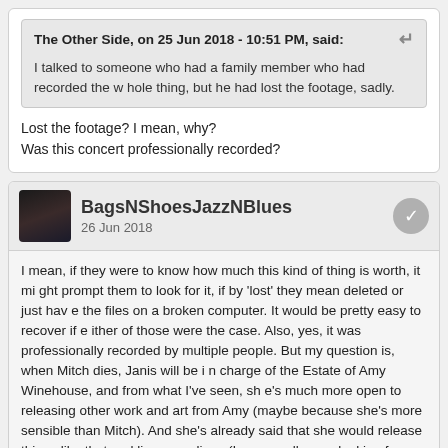The Other Side, on 25 Jun 2018 - 10:51 PM, said:
I talked to someone who had a family member who had recorded the whole thing, but he had lost the footage, sadly.
Lost the footage? I mean, why?
Was this concert professionally recorded?
BagsNShoesJazzNBlues
26 Jun 2018
I mean, if they were to know how much this kind of thing is worth, it might prompt them to look for it, if by 'lost' they mean deleted or just have the files on a broken computer. It would be pretty easy to recover if either of those were the case. Also, yes, it was professionally recorded by multiple people. But my question is, when Mitch dies, Janis will be in charge of the Estate of Amy Winehouse, and from what I've seen, she's much more open to releasing other work and art from Amy (maybe because she's more sensible than Mitch). And she's already said that she would release things like that and live recordings (I, personally, am looking for a live copy of 'Help Yourself') Anyways, the Barbican has them and maybe Mitch just hasn't been asked about it, and maybe if someone asked him, he would at least let us have that of Amy. If not, m